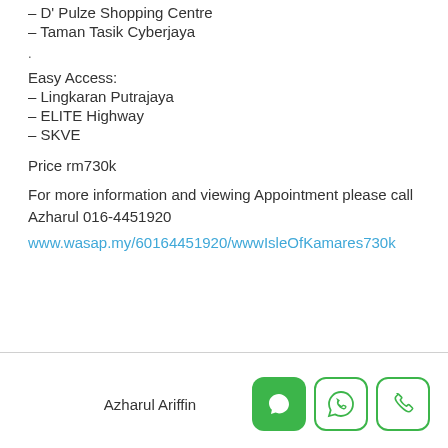– D' Pulze Shopping Centre
– Taman Tasik Cyberjaya
.
Easy Access:
– Lingkaran Putrajaya
– ELITE Highway
– SKVE
Price rm730k
For more information and viewing Appointment please call Azharul 016-4451920
www.wasap.my/60164451920/wwwIsleOfKamares730k
Azharul Ariffin